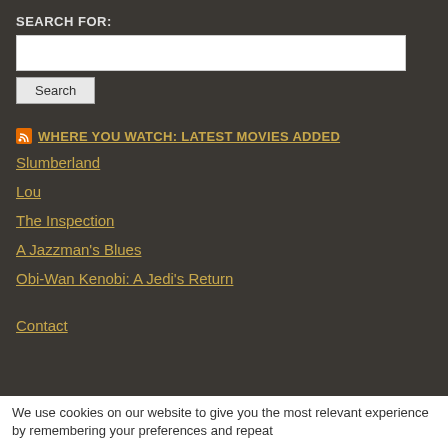SEARCH FOR:
[search input field]
Search
WHERE YOU WATCH: LATEST MOVIES ADDED
Slumberland
Lou
The Inspection
A Jazzman's Blues
Obi-Wan Kenobi: A Jedi's Return
Contact
We use cookies on our website to give you the most relevant experience by remembering your preferences and repeat